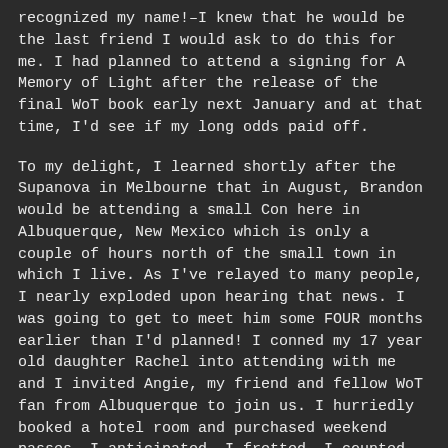recognized my name!–I knew that he would be the last friend I would ask to do this for me. I had planned to attend a signing for A Memory of Light after the release of the final WoT book early next January and at that time, I'd see if my long odds paid off.
To my delight, I learned shortly after the Supanova in Melbourne that in August, Brandon would be attending a small Con here in Albuquerque, New Mexico which is only a couple of hours north of the small town in which I live. As I've relayed to many people, I nearly exploded upon hearing that news. I was going to get to meet him some FOUR months earlier than I'd planned! I conned my 17 year old daughter Rachel into attending with me and I invited Angie, my friend and fellow WoT fan from Albuquerque to join us. I hurriedly booked a hotel room and purchased weekend passes. I anticipated. I fretted. I counted the months, the weeks, the days. It was a little bit ridiculous, to be honest.
I didn't care.
I was finally going to meet Brandon Sanderson. After 5 years...